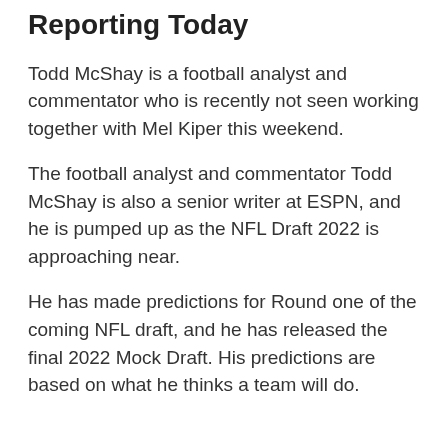Reporting Today
Todd McShay is a football analyst and commentator who is recently not seen working together with Mel Kiper this weekend.
The football analyst and commentator Todd McShay is also a senior writer at ESPN, and he is pumped up as the NFL Draft 2022 is approaching near.
He has made predictions for Round one of the coming NFL draft, and he has released the final 2022 Mock Draft. His predictions are based on what he thinks a team will do.